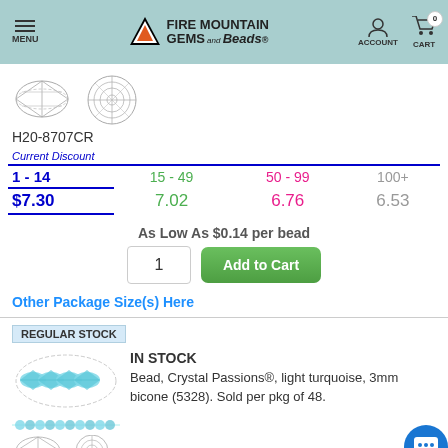Fire Mountain Gems and Beads — MENU | ACCOUNT | CART 0
[Figure (illustration): Two crystal bead diagrams: bicone shape (front) and circle/round shape (top view)]
H20-8707CR
| Current Discount | 15 - 49 | 50 - 99 | 100+ |
| --- | --- | --- | --- |
| 1 - 14 | 15 - 49 | 50 - 99 | 100+ |
| $7.30 | 7.02 | 6.76 | 6.53 |
As Low As $0.14 per bead
Other Package Size(s) Here
REGULAR STOCK
[Figure (photo): Light turquoise crystal bicone beads strung together, oval composition]
IN STOCK
Bead, Crystal Passions®, light turquoise, 3mm bicone (5328). Sold per pkg of 48.
[Figure (photo): Light turquoise crystal beads on a strand, smaller view]
[Figure (illustration): Two crystal bead diagrams at bottom: bicone and round, partial view]